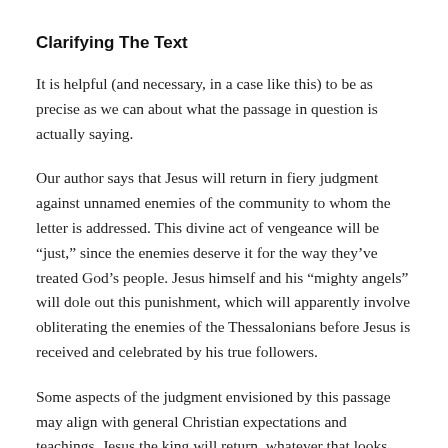Clarifying The Text
It is helpful (and necessary, in a case like this) to be as precise as we can about what the passage in question is actually saying.
Our author says that Jesus will return in fiery judgment against unnamed enemies of the community to whom the letter is addressed. This divine act of vengeance will be “just,” since the enemies deserve it for the way they’ve treated God’s people. Jesus himself and his “mighty angels” will dole out this punishment, which will apparently involve obliterating the enemies of the Thessalonians before Jesus is received and celebrated by his true followers.
Some aspects of the judgment envisioned by this passage may align with general Christian expectations and teachings. Jesus the king will return, whatever that looks like, and he will